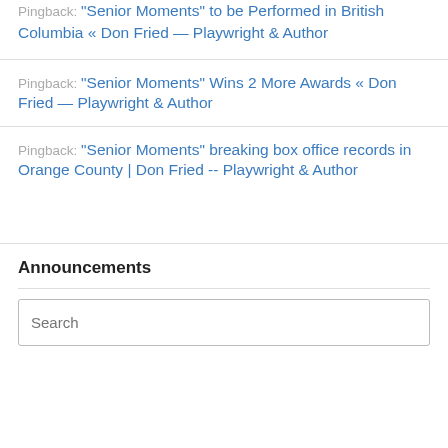Pingback: "Senior Moments" to be Performed in British Columbia « Don Fried — Playwright & Author
Pingback: "Senior Moments" Wins 2 More Awards « Don Fried — Playwright & Author
Pingback: "Senior Moments" breaking box office records in Orange County | Don Fried -- Playwright & Author
Announcements
Search